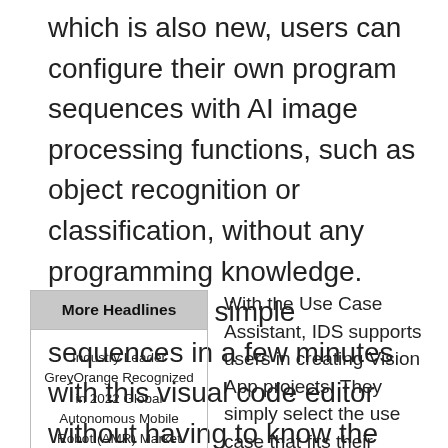which is also new, users can configure their own program sequences with AI image processing functions, such as object recognition or classification, without any programming knowledge. Users create simple sequences in a few minutes with this visual code editor without having to know the syntax of a specific programming language.
| More Headlines |
| --- |
| Industry Leader GreyOrange Recognized in 2022 Global Autonomous Mobile Robot (AMR) Market Analysis |
With the Use Case Assistant, IDS supports users in creating Vision App projects. They simply select the use case that fits their project. With queries and tips, the assistant guides